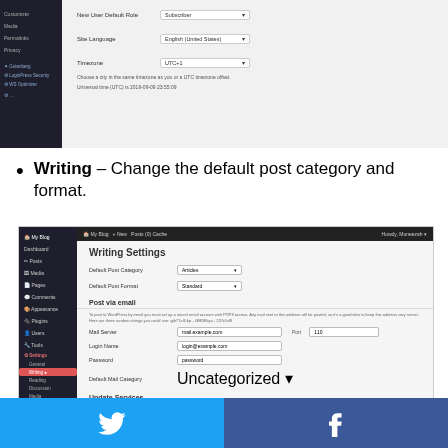[Figure (screenshot): WordPress admin settings panel showing General Settings with New User Default Role, Site Language, and Timezone fields]
Writing – Change the default post category and format.
[Figure (screenshot): WordPress admin Writing Settings page showing Default Post Category, Default Post Format, Post via email section with Mail Server, Login Name, Password, Default Mail Category fields, and Update Services section]
Reading – Decide if you want to make your front page a static page or to show the latest posts. Also, you can discourage search engines from indexing this site, which I